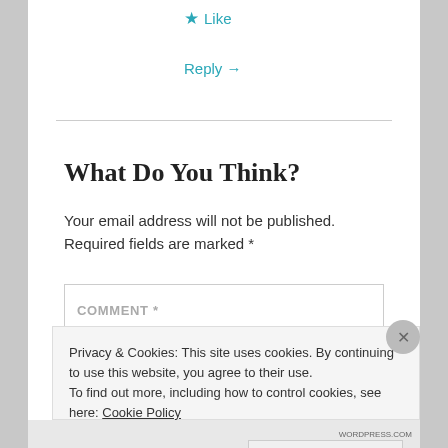★ Like
Reply →
What Do You Think?
Your email address will not be published. Required fields are marked *
COMMENT *
Privacy & Cookies: This site uses cookies. By continuing to use this website, you agree to their use.
To find out more, including how to control cookies, see here: Cookie Policy
Close and accept